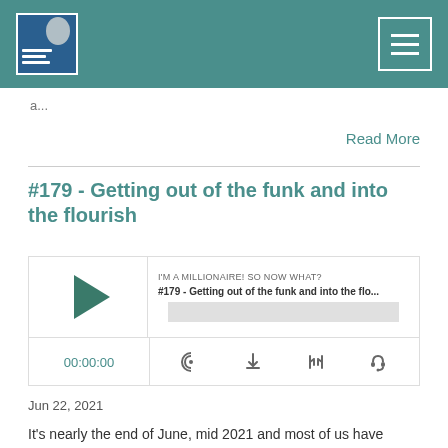[Figure (screenshot): Website header bar with teal/green background, podcast logo image on left and hamburger menu icon on right]
a...
Read More
#179 - Getting out of the funk and into the flourish
[Figure (screenshot): Podcast audio player widget showing play button, episode title '#179 - Getting out of the funk and into the flo...', podcast name 'I'M A MILLIONAIRE! SO NOW WHAT?', progress bar, timestamp 00:00:00, and control icons for RSS, download, embed, and headphones]
Jun 22, 2021
It's nearly the end of June, mid 2021 and most of us have started languishing. Feeling the funk of being stuck in this Groundhog Day🤯.